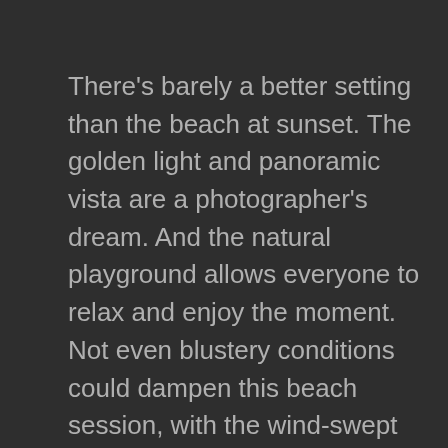There's barely a better setting than the beach at sunset. The golden light and panoramic vista are a photographer's dream. And the natural playground allows everyone to relax and enjoy the moment. Not even blustery conditions could dampen this beach session, with the wind-swept look an added bonus in many of the images! Yet on this occasion, the beautiful surroundings were eclipsed by this family's amazing bond. It was an honour to capture their relationship and the love they share; just another thing I love about photography!